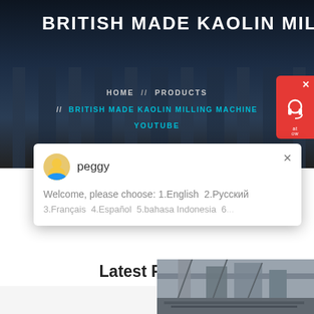BRITISH MADE KAOLIN MILLING MACHINE
HOME // PRODUCTS // BRITISH MADE KAOLIN MILLING MACHINE YOUTUBE
[Figure (screenshot): Chat popup with avatar labeled 'peggy', showing message: 'Welcome, please choose: 1.English  2.Русский 3.Français  4.Español  5.bahasa Indonesia  6...']
Latest Projects
[Figure (photo): Industrial machinery/milling equipment photograph showing metal structures and conveyor systems]